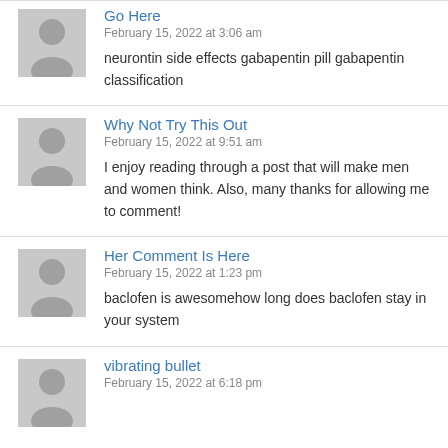Go Here
February 15, 2022 at 3:06 am
neurontin side effects gabapentin pill gabapentin classification
Why Not Try This Out
February 15, 2022 at 9:51 am
I enjoy reading through a post that will make men and women think. Also, many thanks for allowing me to comment!
Her Comment Is Here
February 15, 2022 at 1:23 pm
baclofen is awesomehow long does baclofen stay in your system
vibrating bullet
February 15, 2022 at 6:18 pm